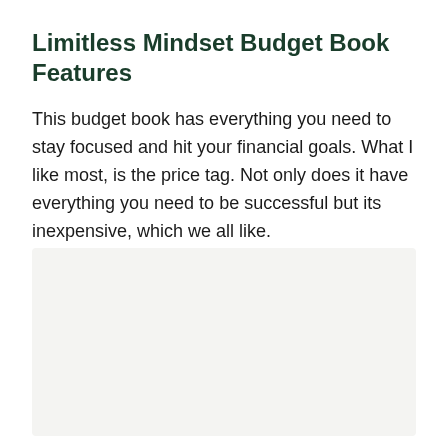Limitless Mindset Budget Book Features
This budget book has everything you need to stay focused and hit your financial goals. What I like most, is the price tag. Not only does it have everything you need to be successful but its inexpensive, which we all like.
[Figure (photo): Light gray image placeholder area at the bottom of the page]